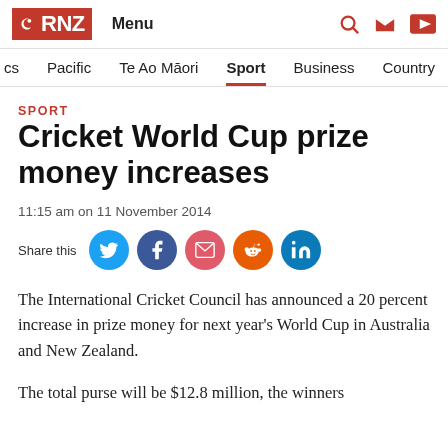RNZ Menu
SPORT
Cricket World Cup prize money increases
11:15 am on 11 November 2014
Share this
The International Cricket Council has announced a 20 percent increase in prize money for next year's World Cup in Australia and New Zealand.
The total purse will be $12.8 million, the winners